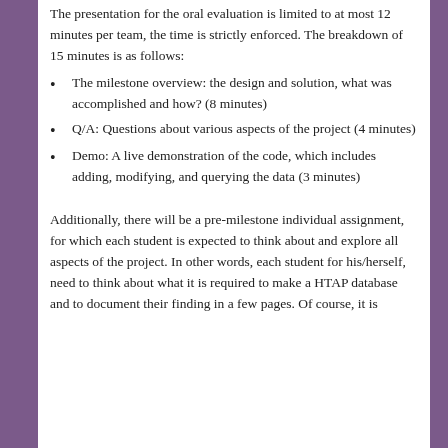The presentation for the oral evaluation is limited to at most 12 minutes per team, the time is strictly enforced. The breakdown of 15 minutes is as follows:
The milestone overview: the design and solution, what was accomplished and how? (8 minutes)
Q/A: Questions about various aspects of the project (4 minutes)
Demo: A live demonstration of the code, which includes adding, modifying, and querying the data (3 minutes)
Additionally, there will be a pre-milestone individual assignment, for which each student is expected to think about and explore all aspects of the project. In other words, each student for his/herself, need to think about what it is required to make a HTAP database and to document their finding in a few pages. Of course, it is